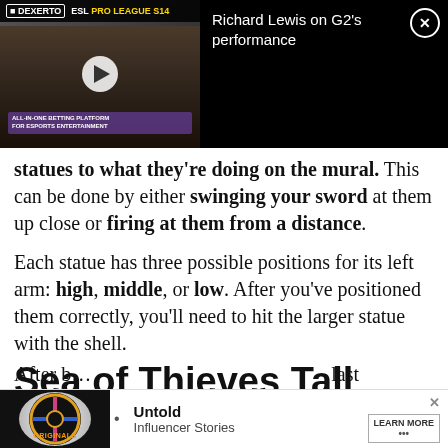[Figure (screenshot): Video thumbnail showing a man with glasses and beard, with Dexerto ESL Pro League S14 branding. Title overlay reads 'Richard Lewis on G2's performance' with a close button.]
statues to what they're doing on the mural. This can be done by either swinging your sword at them up close or firing at them from a distance.
Each statue has three possible positions for its left arm: high, middle, or low. After you've positioned them correctly, you'll need to hit the larger statue with the shell.
Sea of Thieves Tall Tale 2 Siren Puzzle guide
After l... last
[Figure (screenshot): Bottom advertisement banner with Originals logo, Untold Influencer Stories text, and Learn More button.]